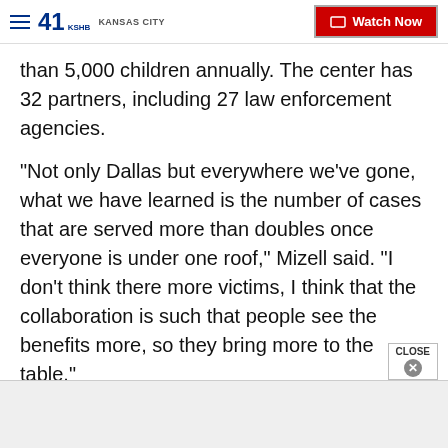41 KSHB KANSAS CITY | Watch Now
than 5,000 children annually. The center has 32 partners, including 27 law enforcement agencies.
"Not only Dallas but everywhere we've gone, what we have learned is the number of cases that are served more than doubles once everyone is under one roof," Mizell said. "I don't think there more victims, I think that the collaboration is such that people see the benefits more, so they bring more to the table."
Currently, the organizations are in the process of raising $10 million for the proposed facility.